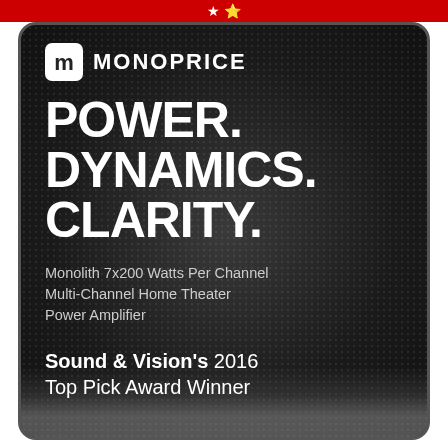[Figure (logo): Monoprice logo with stylized M icon and MONOPRICE wordmark in white on dark background]
POWER. DYNAMICS. CLARITY.
Monolith 7x200 Watts Per Channel Multi-Channel Home Theater Power Amplifier
Sound & Vision's 2016 Top Pick Award Winner